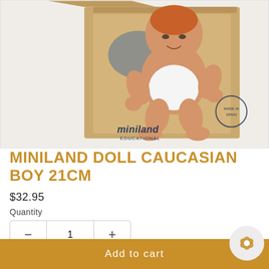[Figure (photo): Miniland Educational baby doll (Caucasian boy) in a cardboard box packaging, showing a small doll in a white knit outfit sitting in an open kraft-colored box with 'miniland EDUCATIONAL' branding and 'Made in Spain' stamp.]
MINILAND DOLL CAUCASIAN BOY 21CM
$32.95
Quantity
1
Add to cart